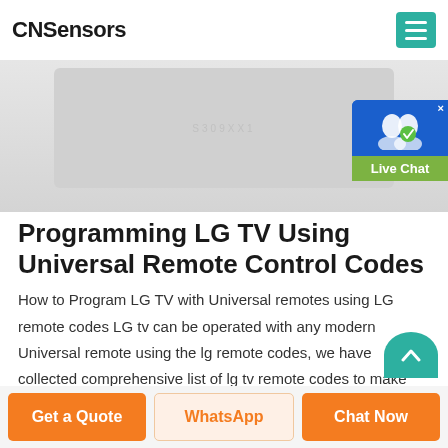CNSensors
[Figure (photo): Product image showing a remote control device on a light gray background]
Programming LG TV Using Universal Remote Control Codes
How to Program LG TV with Universal remotes using LG remote codes LG tv can be operated with any modern Universal remote using the lg remote codes, we have collected comprehensive list of lg tv remote codes to make programming your LG Brand TV. you will find LG remote codes with programming instructions for spectrum, vizio tv, dish, directv, comcast, bose, charter, blu ray, …ng